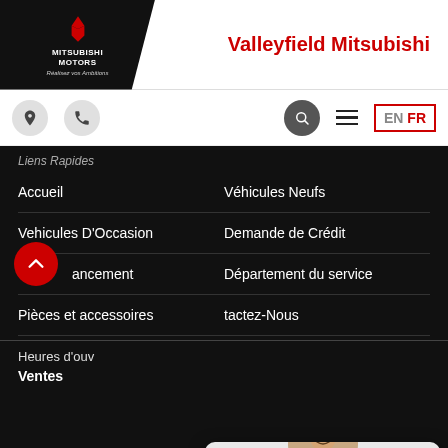[Figure (logo): Mitsubishi Motors logo with diamond symbol, white text on black background, 'Réalisez vos Ambitions' slogan]
Valleyfield Mitsubishi
[Figure (screenshot): Navigation bar with location pin icon, phone icon, search icon, hamburger menu, and EN/FR language toggle]
Liens Rapides
Accueil
Véhicules Neufs
Vehicules D'Occasion
Demande de Crédit
Financement
Département du service
Pièces et accessoires
Contactez-Nous
[Figure (screenshot): Chat widget with agent avatar photo, 'En ligne' status with green dot, message 'Vous cherchez un véhicule? Clavardez avec nous!' and two buttons: TEXTE and CLAVARDAGE]
Heures d'ouverture
Ventes